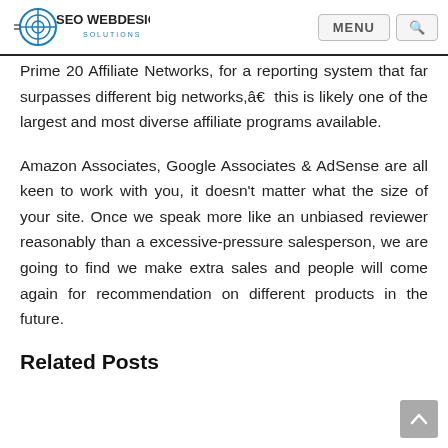SEO WEBDESIGN SOLUTIONS — MENU [search]
Prime 20 Affiliate Networks, for a reporting system that far surpasses different big networks,â€ this is likely one of the largest and most diverse affiliate programs available.
Amazon Associates, Google Associates & AdSense are all keen to work with you, it doesn't matter what the size of your site. Once we speak more like an unbiased reviewer reasonably than a excessive-pressure salesperson, we are going to find we make extra sales and people will come again for recommendation on different products in the future.
Related Posts